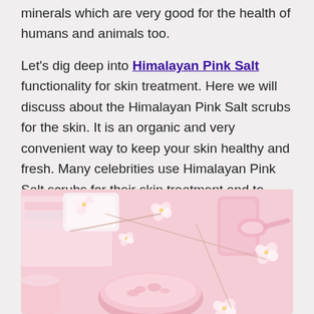minerals which are very good for the health of humans and animals too.
Let's dig deep into Himalayan Pink Salt functionality for skin treatment. Here we will discuss about the Himalayan Pink Salt scrubs for the skin. It is an organic and very convenient way to keep your skin healthy and fresh. Many celebrities use Himalayan Pink Salt scrubs for their skin treatment and to keep their skin fresh.
[Figure (photo): Photo of pink Himalayan salt scrub products arranged with white cherry blossoms, pink towels, a bowl of pink salt crystals, pink ceramic cups and spoons on a light pink background.]